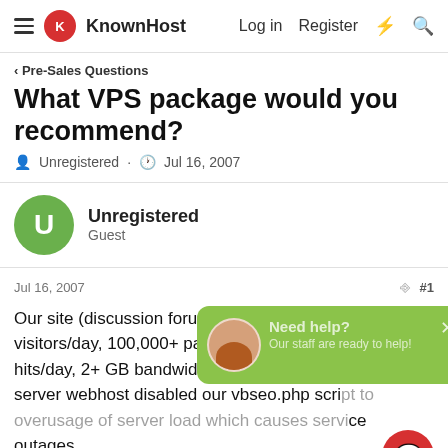KnownHost | Log in | Register
Pre-Sales Questions
What VPS package would you recommend?
Unregistered · Jul 16, 2007
Unregistered
Guest
Jul 16, 2007 #1
Our site (discussion forum) is averaging 5000+ visitors/day, 100,000+ pageviews/day, 350,000+ hits/day, 2+ GB bandwidth/day. Our current shared server webhost disabled our vbseo.php script to overusage of server load which causes service outages.
Can a VPS accommodate our site well? What VPS
[Figure (screenshot): Chat support popup overlay with green background showing 'Need help? Our staff are ready to help!' with a support agent avatar and a close button. A red chat bubble FAB button in the lower right.]